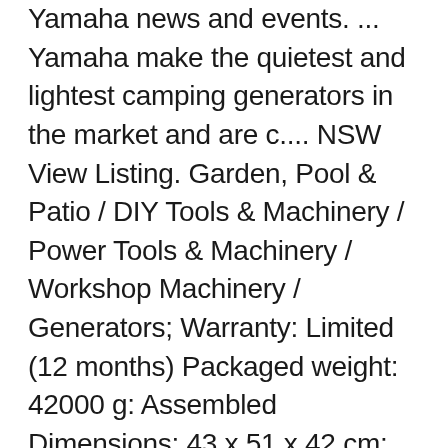Yamaha news and events. ... Yamaha make the quietest and lightest camping generators in the market and are c.... NSW View Listing. Garden, Pool & Patio / DIY Tools & Machinery / Power Tools & Machinery / Workshop Machinery / Generators; Warranty: Limited (12 months) Packaged weight: 42000 g: Assembled Dimensions: 43 x 51 x 42 cm: Brand: Yamaha Power Equipment: Model: … Check Our Redemption Deals Online For The Best Tools & The Best Prices. Yamaha EF3000iSE 3kVA Inverter Generator – 2800W R 34801 rated 2.8kVA/max output 3.0kVA Petrol Generator, with computer controlled inverter ensuring high quality electricity. Capable of producing clean, quiet, high quality electricity for around the home